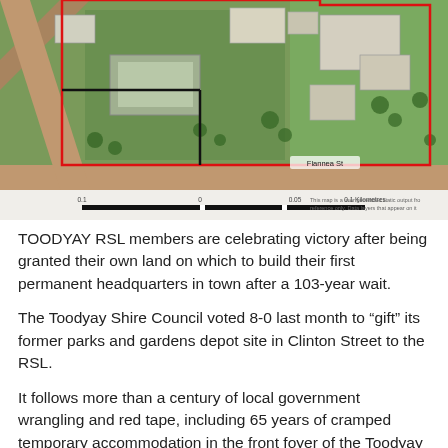[Figure (map): Aerial satellite map of Toodyay showing a land parcel outlined in red near Piannah St and Flannea St. A scale bar and disclaimer text are visible at the bottom of the map.]
TOODYAY RSL members are celebrating victory after being granted their own land on which to build their first permanent headquarters in town after a 103-year wait.
The Toodyay Shire Council voted 8-0 last month to "gift" its former parks and gardens depot site in Clinton Street to the RSL.
It follows more than a century of local government wrangling and red tape, including 65 years of cramped temporary accommodation in the front foyer of the Toodyay Memorial Hall in Stirling Terrace.
... [continues below visible area]